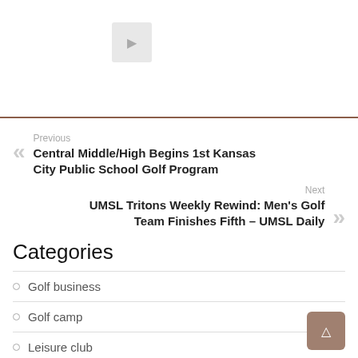[Figure (other): Image placeholder with a small icon in the top section of the page]
Previous
Central Middle/High Begins 1st Kansas City Public School Golf Program
Next
UMSL Tritons Weekly Rewind: Men's Golf Team Finishes Fifth – UMSL Daily
Categories
Golf business
Golf camp
Leisure club